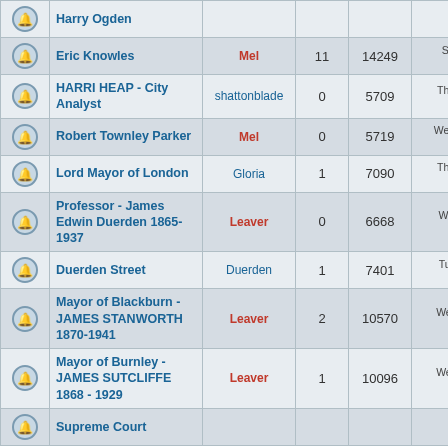|  | Topic | User | Replies | Views | Last Post |
| --- | --- | --- | --- | --- | --- |
|  | Harry Ogden |  |  |  |  |
|  | Eric Knowles | Mel | 11 | 14249 | Sat Apr 12, 2008
Mel → |
|  | HARRI HEAP - City Analyst | shattonblade | 0 | 5709 | Thu Mar 27, 2008
shattonblade |
|  | Robert Townley Parker | Mel | 0 | 5719 | Wed Feb 13, 2008
Mel → |
|  | Lord Mayor of London | Gloria | 1 | 7090 | Thu Aug 23, 2007
Leaver → |
|  | Professor - James Edwin Duerden 1865-1937 | Leaver | 0 | 6668 | Wed Jul 04, 2007
Leaver → |
|  | Duerden Street | Duerden | 1 | 7401 | Tue Jun 05, 2007
Leaver → |
|  | Mayor of Blackburn - JAMES STANWORTH 1870-1941 | Leaver | 2 | 10570 | Wed Apr 18, 2007
Leaver → |
|  | Mayor of Burnley - JAMES SUTCLIFFE 1868 - 1929 | Leaver | 1 | 10096 | Wed Apr 18, 2007
Leaver → |
|  | Supreme Court |  |  |  |  |